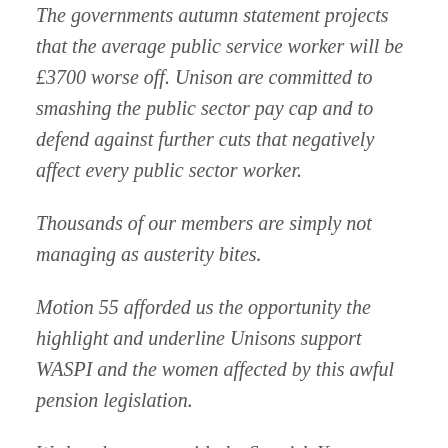The governments autumn statement projects that the average public service worker will be £3700 worse off. Unison are committed to smashing the public sector pay cap and to defend against further cuts that negatively affect every public sector worker.
Thousands of our members are simply not managing as austerity bites.
Motion 55 afforded us the opportunity the highlight and underline Unisons support WASPI and the women affected by this awful pension legislation.
Wednesday starts with the Scottish Young